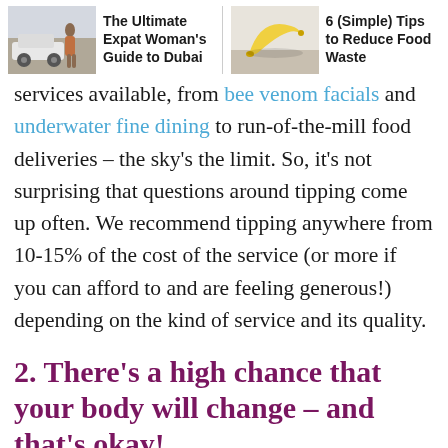[Figure (photo): Thumbnail image of a woman near a car in Dubai]
The Ultimate Expat Woman's Guide to Dubai
[Figure (photo): Thumbnail image of a banana on a surface]
6 (Simple) Tips to Reduce Food Waste
services available, from bee venom facials and underwater fine dining to run-of-the-mill food deliveries – the sky's the limit. So, it's not surprising that questions around tipping come up often. We recommend tipping anywhere from 10-15% of the cost of the service (or more if you can afford to and are feeling generous!) depending on the kind of service and its quality.
2. There's a high chance that your body will change – and that's okay!